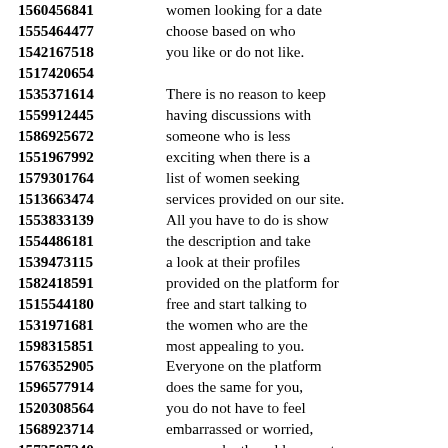1560456841 women looking for a date 1555464477 choose based on who 1542167518 you like or do not like. 1517420654 1535371614 There is no reason to keep 1559912445 having discussions with 1586925672 someone who is less 1551967992 exciting when there is a 1579301764 list of women seeking 1513663474 services provided on our site. 1553833139 All you have to do is show 1554486181 the description and take 1539473115 a look at their profiles 1582418591 provided on the platform for 1515544180 free and start talking to 1531971681 the women who are the 1598315851 most appealing to you. 1576352905 Everyone on the platform 1596577914 does the same for you, 1520308564 you do not have to feel 1568923714 embarrassed or worried, 1573597240 you may be the odd one out. 1593711252 The platform enables users 1566857452 and women looking for love 1567889537 to see who's online now, 1572329416 on the page at the moment.